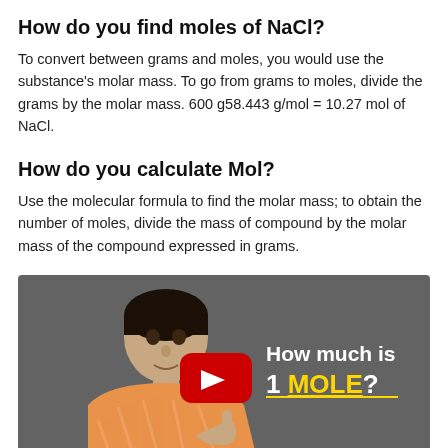How do you find moles of NaCl?
To convert between grams and moles, you would use the substance's molar mass. To go from grams to moles, divide the grams by the molar mass. 600 g58.443 g/mol = 10.27 mol of NaCl.
How do you calculate Mol?
Use the molecular formula to find the molar mass; to obtain the number of moles, divide the mass of compound by the molar mass of the compound expressed in grams.
[Figure (screenshot): YouTube video thumbnail showing a man in an orange shirt with text 'How much is 1 MOLE?' and a red YouTube play button overlay]